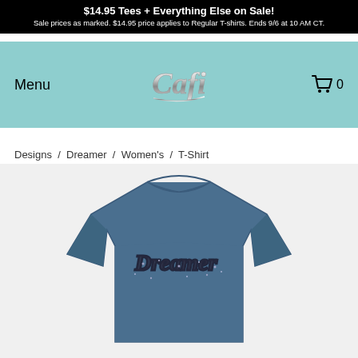$14.95 Tees + Everything Else on Sale! Sale prices as marked. $14.95 price applies to Regular T-shirts. Ends 9/6 at 10 AM CT.
[Figure (logo): Cafi brand logo in script font, silver/chrome style]
Menu
0
Designs  /  Dreamer  /  Women's  /  T-Shirt
[Figure (photo): Navy blue women's t-shirt with sparkly/rhinestone 'Dreamer' script text printed on the chest, displayed on a white background]